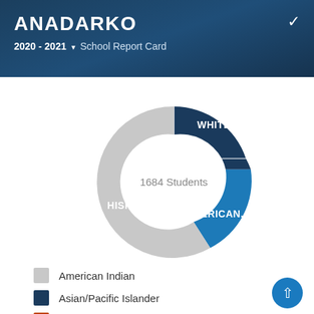ANADARKO
2020 - 2021 ▾ School Report Card
[Figure (donut-chart): 1684 Students]
American Indian
Asian/Pacific Islander
Black
Hispanic